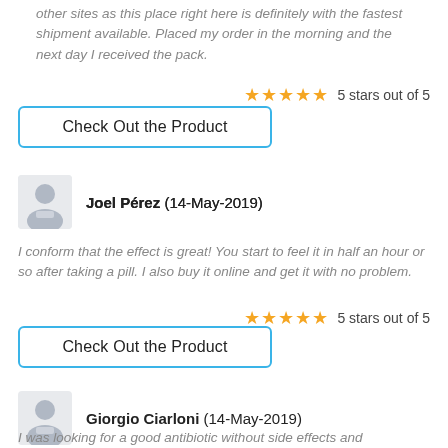other sites as this place right here is definitely with the fastest shipment available. Placed my order in the morning and the next day I received the pack.
5 stars out of 5
Check Out the Product
Joel Pérez (14-May-2019)
I conform that the effect is great! You start to feel it in half an hour or so after taking a pill. I also buy it online and get it with no problem.
5 stars out of 5
Check Out the Product
Giorgio Ciarloni (14-May-2019)
I was looking for a good antibiotic without side effects and discovered